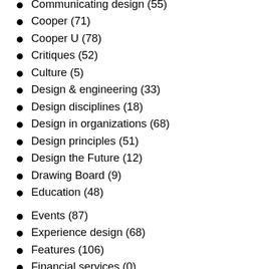Communicating design (55)
Cooper (71)
Cooper U (78)
Critiques (52)
Culture (5)
Design & engineering (33)
Design disciplines (18)
Design in organizations (68)
Design principles (51)
Design the Future (12)
Drawing Board (9)
Education (48)
Events (87)
Experience design (68)
Features (106)
Financial services (0)
Games (4)
Humor (23)
Industrial design (16)
Information design (27)
Innovation (74)
Interaction design (161)